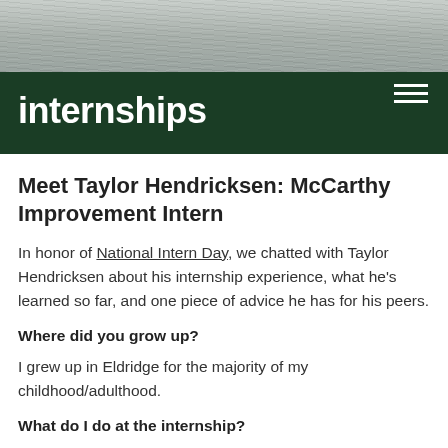[Figure (photo): Gray textured background image at the top of the page]
internships
Meet Taylor Hendricksen: McCarthy Improvement Intern
In honor of National Intern Day, we chatted with Taylor Hendricksen about his internship experience, what he's learned so far, and one piece of advice he has for his peers.
Where did you grow up?
I grew up in Eldridge for the majority of my childhood/adulthood.
What do I do at the internship?